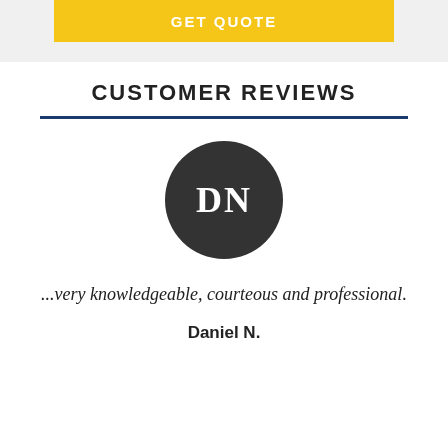[Figure (other): Yellow GET QUOTE button on gray background at top of page]
CUSTOMER REVIEWS
[Figure (illustration): Dark gray circle avatar with white initials DN]
...very knowledgeable, courteous and professional.
Daniel N.